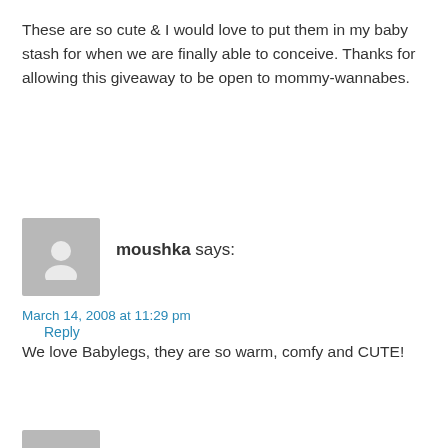These are so cute & I would love to put them in my baby stash for when we are finally able to conceive. Thanks for allowing this giveaway to be open to mommy-wannabes.
Reply
[Figure (illustration): Gray avatar placeholder icon for user moushka]
moushka says:
March 14, 2008 at 11:29 pm
We love Babylegs, they are so warm, comfy and CUTE!
Reply
[Figure (illustration): Gray avatar placeholder icon for next commenter]